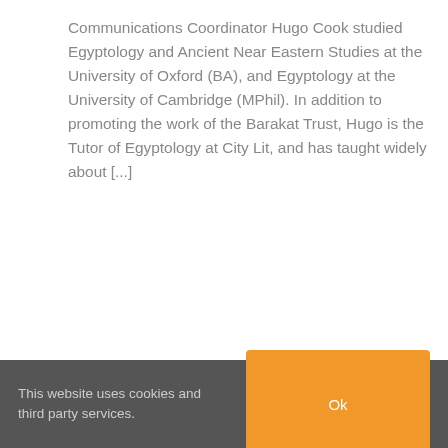Communications Coordinator Hugo Cook studied Egyptology and Ancient Near Eastern Studies at the University of Oxford (BA), and Egyptology at the University of Cambridge (MPhil). In addition to promoting the work of the Barakat Trust, Hugo is the Tutor of Egyptology at City Lit, and has taught widely about [...]
Tags: Art, Cultural Heritage, Egypt, heritage, history, Middle East, The Barakat Trust
Read More ›
[Figure (photo): Partial view of a dark architectural or archaeological space, appears to be an interior with columns or walls, partially cropped at page bottom]
This website uses cookies and third party services.